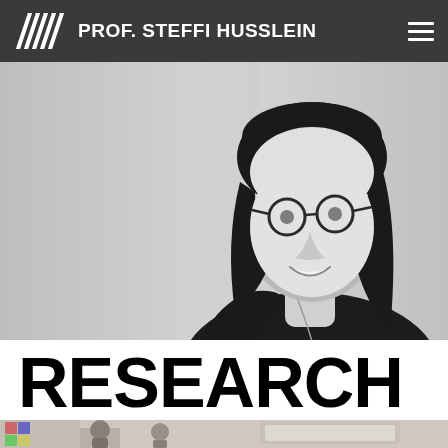PROF. STEFFI HUSSLEIN
[Figure (photo): Black and white professional portrait photo of Prof. Steffi Husslein, a woman with dark hair, round glasses, wearing a black top and a long necklace, smiling, posing with hands on hips against a light grey background.]
RESEARCH
[Figure (photo): Partial view of a room scene at the bottom of the page, showing people in what appears to be a meeting or classroom environment with a screen/display visible.]